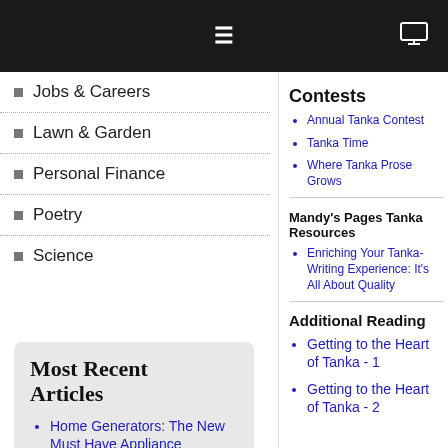Navigation bar with hamburger menu and monitor icon
Jobs & Careers
Lawn & Garden
Personal Finance
Poetry
Science
Most Recent Articles
Home Generators: The New Must Have Appliance
Results of Annual Tanka Contest 2020
Annual Tanka Contest 2020
Contests
Annual Tanka Contest
Tanka Time
Where Tanka Prose Grows
Mandy's Pages Tanka Resources
Enriching Your Tanka-Writing Experience: It's All About Quality
Additional Reading
Getting to the Heart of Tanka - 1
Getting to the Heart of Tanka - 2